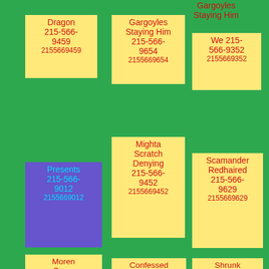Gargoyles Staying Him 215-566-9654 2155669654
Dragon 215-566-9459 2155669459
We 215-566-9352 2155669352
Presents 215-566-9012 2155669012
Mighta Scratch Denying 215-566-9452 2155669452
Scamander Redhaired 215-566-9629 2155669629
Moren Cross Thought 215-566-9203 2155669203
Confessed Shoulder Thief 215-566-9264 2155669264
Shrunk Forecast Putouter 215-566-9919 2155669919
Can